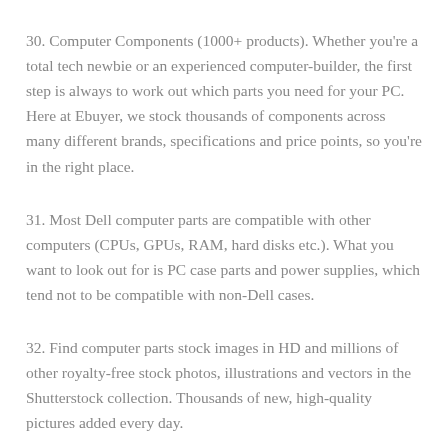30. Computer Components (1000+ products). Whether you're a total tech newbie or an experienced computer-builder, the first step is always to work out which parts you need for your PC. Here at Ebuyer, we stock thousands of components across many different brands, specifications and price points, so you're in the right place.
31. Most Dell computer parts are compatible with other computers (CPUs, GPUs, RAM, hard disks etc.). What you want to look out for is PC case parts and power supplies, which tend not to be compatible with non-Dell cases.
32. Find computer parts stock images in HD and millions of other royalty-free stock photos, illustrations and vectors in the Shutterstock collection. Thousands of new, high-quality pictures added every day.